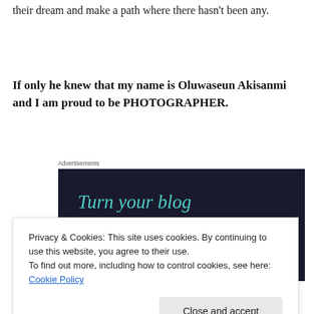their dream and make a path where there hasn't been any.
If only he knew that my name is Oluwaseun Akisanmi and I am proud to be PHOTOGRAPHER.
Advertisements
[Figure (screenshot): Dark advertisement banner with teal italic text reading 'Turn your blog into a money-making']
Privacy & Cookies: This site uses cookies. By continuing to use this website, you agree to their use.
To find out more, including how to control cookies, see here: Cookie Policy